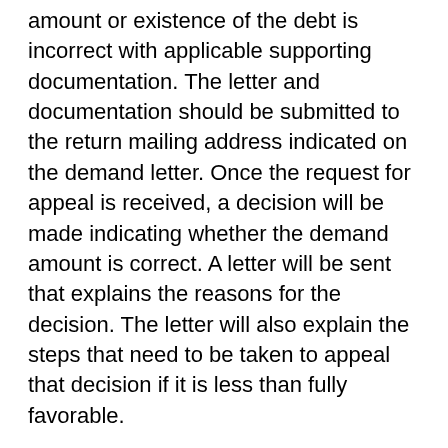amount or existence of the debt is incorrect with applicable supporting documentation. The letter and documentation should be submitted to the return mailing address indicated on the demand letter. Once the request for appeal is received, a decision will be made indicating whether the demand amount is correct. A letter will be sent that explains the reasons for the decision. The letter will also explain the steps that need to be taken to appeal that decision if it is less than fully favorable.
Note: When an insurer/WC entity appeals a demand, the beneficiary will receive a letter that explains that the insurer/WC entity has submitted an appeal. Insurer/WC entity debtors may only appeal demands issued on or after April 28, 2015.